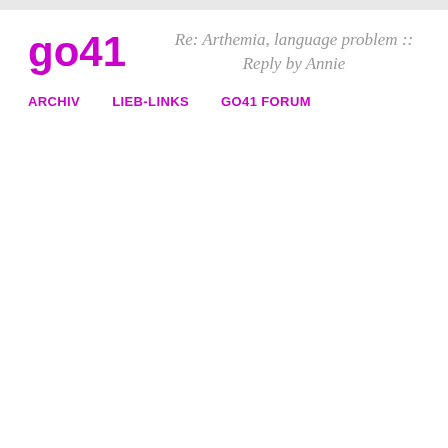go41
Re: Arthemia, language problem :: Reply by Annie
ARCHIV
LIEB-LINKS
GO41 FORUM